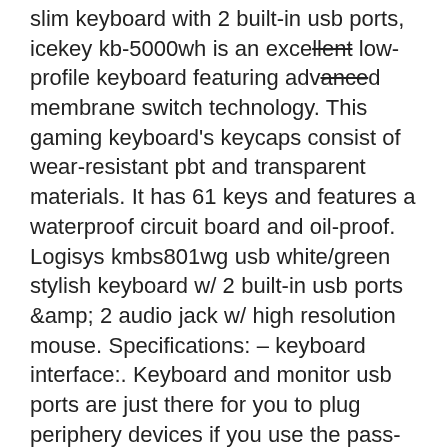slim keyboard with 2 built-in usb ports, icekey kb-5000wh is an excellent low-profile keyboard featuring advanced membrane switch technology. This gaming keyboard's keycaps consist of wear-resistant pbt and transparent materials. It has 61 keys and features a waterproof circuit board and oil-proof. Logisys kmbs801wg usb white/green stylish keyboard w/ 2 built-in usb ports &amp; 2 audio jack w/ high resolution mouse. Specifications: – keyboard interface:. Keyboard and monitor usb ports are just there for you to plug periphery devices if you use the pass-through wire. For instance, a mechanical. Complete with wand - $159 - complete with built-in laser — $1299 keyboard And the good news is - there are no shortage of options. Online gambling sites in New Jersey are in a constant